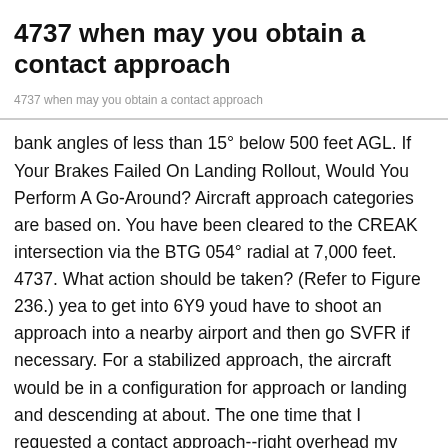4737 when may you obtain a contact approach
4737 when may you obtain a contact approach
bank angles of less than 15° below 500 feet AGL. If Your Brakes Failed On Landing Rollout, Would You Perform A Go-Around? Aircraft approach categories are based on. You have been cleared to the CREAK intersection via the BTG 054° radial at 7,000 feet. 4737. What action should be taken? (Refer to Figure 236.) yea to get into 6Y9 youd have to shoot an approach into a nearby airport and then go SVFR if necessary. For a stabilized approach, the aircraft would be in a configuration for approach or landing and descending at about. The one time that I requested a contact approach--right overhead my home airport--I was denied. Subscribe to get the latest videos, articles, and quizzes that make you a smarter, safer pilot.Improve your pilot skills. When may you obtain a contact approach? 4660.